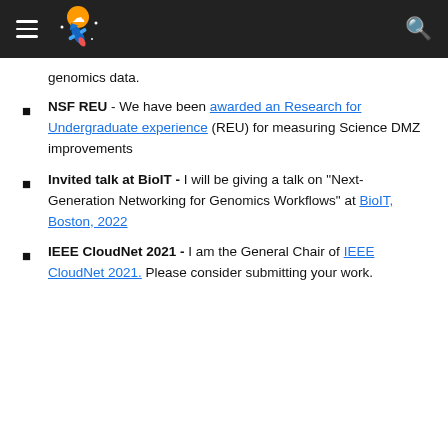[Navigation header with logo and search icon]
genomics data.
NSF REU - We have been awarded an Research for Undergraduate experience (REU) for measuring Science DMZ improvements
Invited talk at BioIT - I will be giving a talk on "Next-Generation Networking for Genomics Workflows" at BioIT, Boston, 2022
IEEE CloudNet 2021 - I am the General Chair of IEEE CloudNet 2021. Please consider submitting your work.